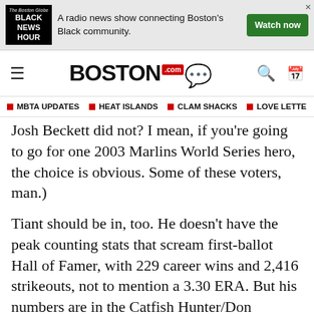[Figure (other): Advertisement banner for Black News Hour radio show. Includes logo, text 'A radio news show connecting Boston's Black community.' and a green Watch now button.]
BOSTON.com navigation header with hamburger menu, Boston.com logo, search and calendar icons
MBTA UPDATES | HEAT ISLANDS | CLAM SHACKS | LOVE LETTE
Josh Beckett did not? I mean, if you're going to go for one 2003 Marlins World Series hero, the choice is obvious. Some of these voters, man.)
Tiant should be in, too. He doesn't have the peak counting stats that scream first-ballot Hall of Famer, with 229 career wins and 2,416 strikeouts, not to mention a 3.30 ERA. But his numbers are in the Catfish Hunter/Don Drysdale range, and he was one of the most lovable characters in modern baseball history. The Hall of Fame is lesser